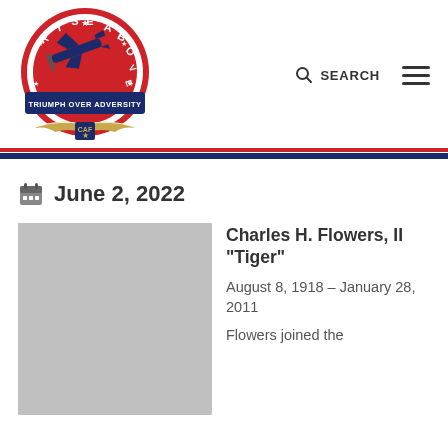[Figure (logo): Rise Above Triumph Over Adversity CAF circular logo with airplane and wings]
SEARCH
June 2, 2022
[Figure (photo): Gray placeholder image for Charles H. Flowers II]
Charles H. Flowers, II "Tiger"
August 8, 1918 – January 28, 2011
Flowers joined the